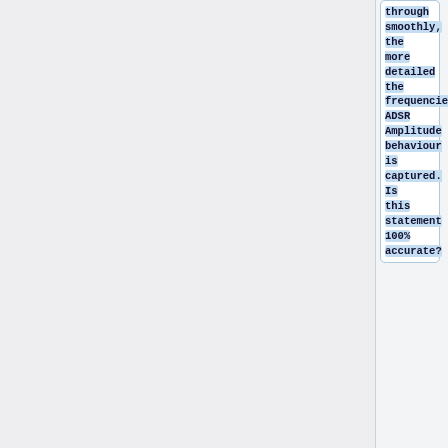through smoothly, the more detailed the frequencies ADSR Amplitude behaviour is captured. Is this statement 100% accurate?
: I'm not sure about this one, but I think that's just saying you need to properly